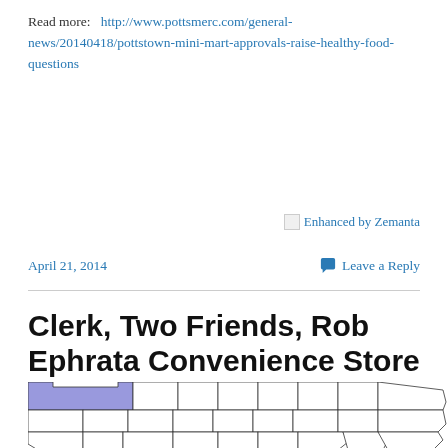Read more: http://www.pottsmerc.com/general-news/20140418/pottstown-mini-mart-approvals-raise-healthy-food-questions
[Figure (other): Enhanced by Zemanta badge with small image icon]
April 21, 2014
Leave a Reply
Clerk, Two Friends, Rob Ephrata Convenience Store
[Figure (map): Map of Pennsylvania counties with the top-left county (Erie or similar) highlighted in blue/purple]